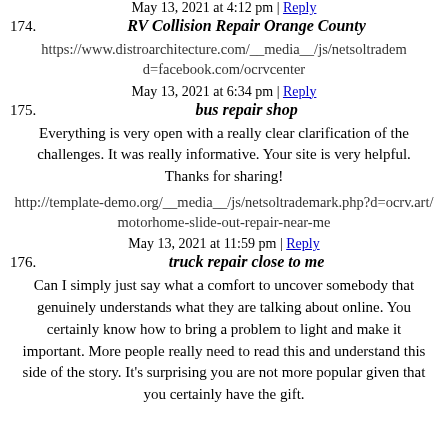May 13, 2021 at 4:12 pm | Reply
174.   RV Collision Repair Orange County
https://www.distroarchitecture.com/__media__/js/netsoltrademark.php?d=facebook.com/ocrvcenter
May 13, 2021 at 6:34 pm | Reply
175.   bus repair shop
Everything is very open with a really clear clarification of the challenges. It was really informative. Your site is very helpful. Thanks for sharing!
http://template-demo.org/__media__/js/netsoltrademark.php?d=ocrv.art/motorhome-slide-out-repair-near-me
May 13, 2021 at 11:59 pm | Reply
176.   truck repair close to me
Can I simply just say what a comfort to uncover somebody that genuinely understands what they are talking about online. You certainly know how to bring a problem to light and make it important. More people really need to read this and understand this side of the story. It's surprising you are not more popular given that you certainly have the gift.